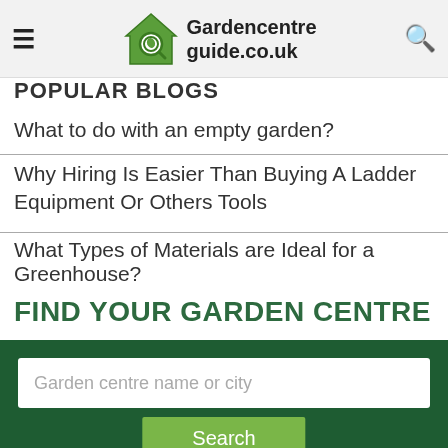Gardencentreguide.co.uk
POPULAR BLOGS
What to do with an empty garden?
Why Hiring Is Easier Than Buying A Ladder Equipment Or Others Tools
What Types of Materials are Ideal for a Greenhouse?
FIND YOUR GARDEN CENTRE
Garden centre name or city
Search
NEWSLETTER SIGN UP